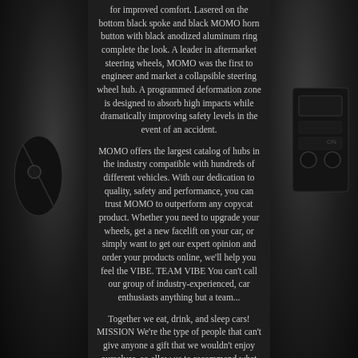[Figure (photo): Left side photo showing car interior detail, dark background with automotive components visible]
for improved comfort. Lasered on the bottom black spoke and black MOMO horn button with black anodized aluminum ring complete the look. A leader in aftermarket steering wheels, MOMO was the first to engineer and market a collapsible steering wheel hub. A programmed deformation zone is designed to absorb high impacts while dramatically improving safety levels in the event of an accident.

MOMO offers the largest catalog of hubs in the industry compatible with hundreds of different vehicles. With our dedication to quality, safety and performance, you can trust MOMO to outperform any copycat product. Whether you need to upgrade your wheels, get a new facelift on your car, or simply want to get our expert opinion and order your products online, we'll help you feel the VIBE. TEAM VIBE You can't call our group of industry-experienced, car enthusiasts anything but a team...

Together we eat, drink, and sleep cars! MISSION We're the type of people that can't give anyone a gift that we wouldn't enjoy ourselves, so allow us to recommend what we would do if we were you, if not for anything else but for your complete satisfaction. CREATIVE
[Figure (photo): Right side photo showing car interior with controls and panel, dark background]